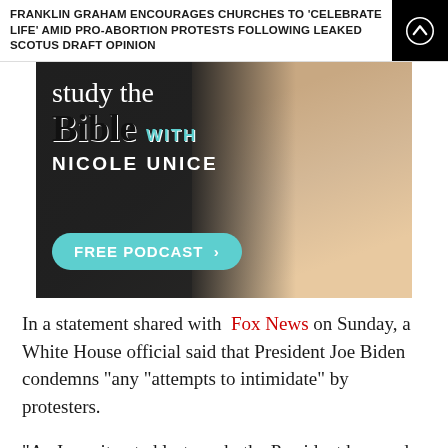FRANKLIN GRAHAM ENCOURAGES CHURCHES TO 'CELEBRATE LIFE' AMID PRO-ABORTION PROTESTS FOLLOWING LEAKED SCOTUS DRAFT OPINION
[Figure (illustration): Advertisement for 'study the Bible with Nicole Unice' free podcast, featuring a woman with blonde hair smiling, text overlay on dark background with teal button.]
In a statement shared with Fox News on Sunday, a White House official said that President Joe Biden condemns "any "attempts to intimidate" by protesters.
"As Jen reiterated last week, the President has made clear throughout his time in public life that Americans have the fundamental right to protest